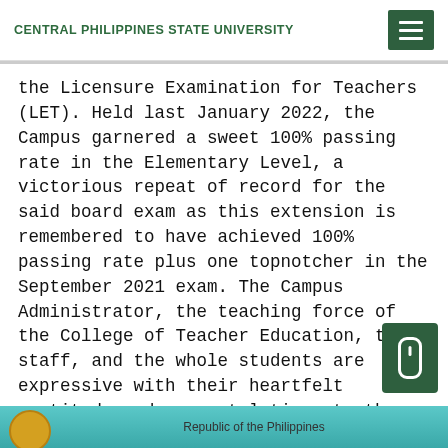CENTRAL PHILIPPINES STATE UNIVERSITY
the Licensure Examination for Teachers (LET). Held last January 2022, the Campus garnered a sweet 100% passing rate in the Elementary Level, a victorious repeat of record for the said board exam as this extension is remembered to have achieved 100% passing rate plus one topnotcher in the September 2021 exam. The Campus Administrator, the teaching force of the College of Teacher Education, the staff, and the whole students are expressive with their heartfelt gratitude and congratulations to the passers for imprinting another valuable record to the institution. The three new licensed professional teachers are:
Republic of the Philippines